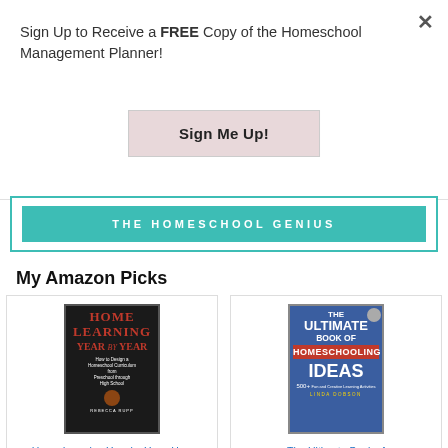Sign Up to Receive a FREE Copy of the Homeschool Management Planner!
Sign Me Up!
[Figure (logo): Teal bordered box with teal banner reading THE HOMESCHOOL GENIUS]
My Amazon Picks
[Figure (photo): Book cover: Home Learning Year by Year - How to Design a Homeschool Curriculum from Preschool Through High School by Rebecca Rupp]
Home Learning Year by Year: How to Design a Homeschool Curri...
[Figure (photo): Book cover: The Ultimate Book of Homeschooling Ideas: 500+ Fun and Creative Learning Activities by Linda Dobson]
The Ultimate Book of Homeschooling Ideas: 500+ ...